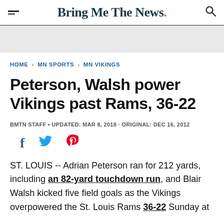Bring Me The News.
HOME > MN SPORTS > MN VIKINGS
Peterson, Walsh power Vikings past Rams, 36-22
BMTN STAFF • UPDATED: MAR 8, 2018 · ORIGINAL: DEC 16, 2012
[Figure (other): Social sharing icons: Facebook, Twitter, Pinterest]
ST. LOUIS -- Adrian Peterson ran for 212 yards, including an 82-yard touchdown run, and Blair Walsh kicked five field goals as the Vikings overpowered the St. Louis Rams 36-22 Sunday at